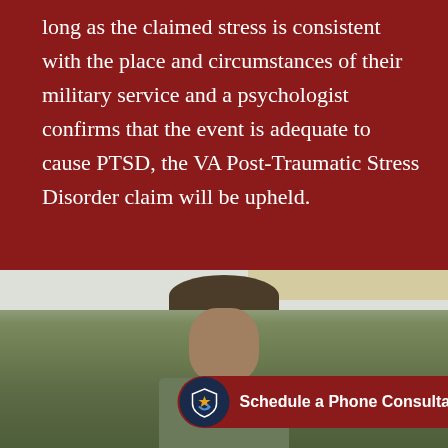long as the claimed stress is consistent with the place and circumstances of their military service and a psychologist confirms that the event is adequate to cause PTSD, the VA Post-Traumatic Stress Disorder claim will be upheld.
[Figure (photo): Photo of a military person wearing a campaign cover (drill sergeant hat) and camouflage uniform, standing outdoors near a building]
Schedule a Phone Consultation